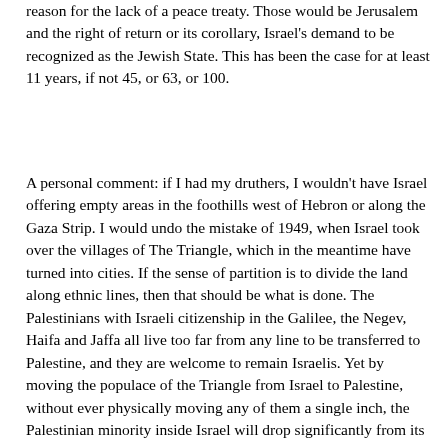reason for the lack of a peace treaty. Those would be Jerusalem and the right of return or its corollary, Israel's demand to be recognized as the Jewish State. This has been the case for at least 11 years, if not 45, or 63, or 100.
A personal comment: if I had my druthers, I wouldn't have Israel offering empty areas in the foothills west of Hebron or along the Gaza Strip. I would undo the mistake of 1949, when Israel took over the villages of The Triangle, which in the meantime have turned into cities. If the sense of partition is to divide the land along ethnic lines, then that should be what is done. The Palestinians with Israeli citizenship in the Galilee, the Negev, Haifa and Jaffa all live too far from any line to be transferred to Palestine, and they are welcome to remain Israelis. Yet by moving the populace of the Triangle from Israel to Palestine, without ever physically moving any of them a single inch, the Palestinian minority inside Israel will drop significantly from its current 20.5%. Since the Palestinians will not allow there to be any Jews at all in Palestine, this seems a reasonable proposition. The reality, however, is that in the occasional case where Israeli politicians moot this idea (Sharon in 2004, for example, and his successors after) they are always met with howls